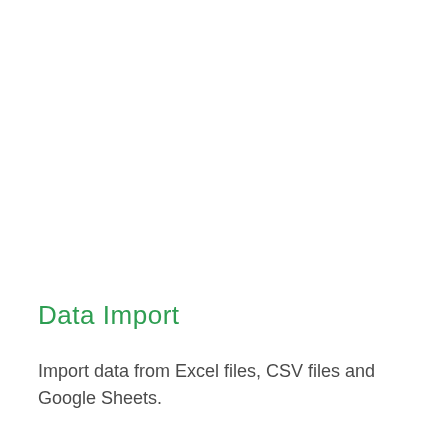Data Import
Import data from Excel files, CSV files and Google Sheets.